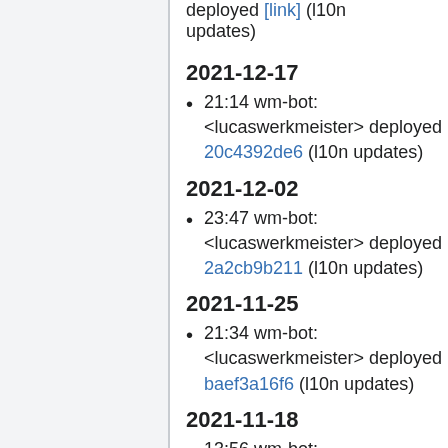deployed [link] (l10n updates)
2021-12-17
21:14 wm-bot: <lucaswerkmeister> deployed 20c4392de6 (l10n updates)
2021-12-02
23:47 wm-bot: <lucaswerkmeister> deployed 2a2cb9b211 (l10n updates)
2021-11-25
21:34 wm-bot: <lucaswerkmeister> deployed baef3a16f6 (l10n updates)
2021-11-18
13:56 wm-bot: <lucaswerkmeister> deployed e001c252c5 (l10n updates)